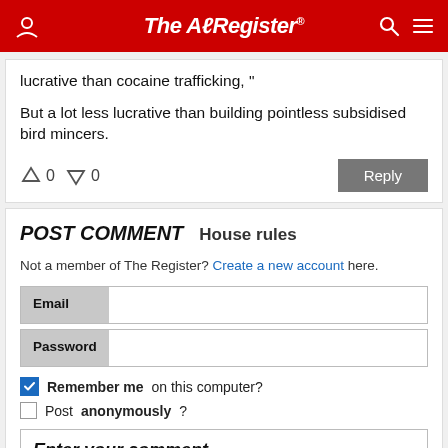The Register
lucrative than cocaine trafficking,"
But a lot less lucrative than building pointless subsidised bird mincers.
POST COMMENT  House rules
Not a member of The Register? Create a new account here.
Email
Password
Remember me on this computer?
Post anonymously?
Enter your comment